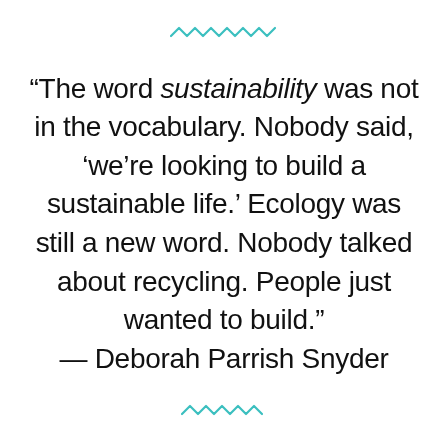[Figure (illustration): Teal decorative wavy/zigzag line at the top center of the page]
“The word sustainability was not in the vocabulary. Nobody said, ‘we’re looking to build a sustainable life.’ Ecology was still a new word. Nobody talked about recycling. People just wanted to build.” — Deborah Parrish Snyder
[Figure (illustration): Teal decorative wavy/zigzag line at the bottom center of the page]